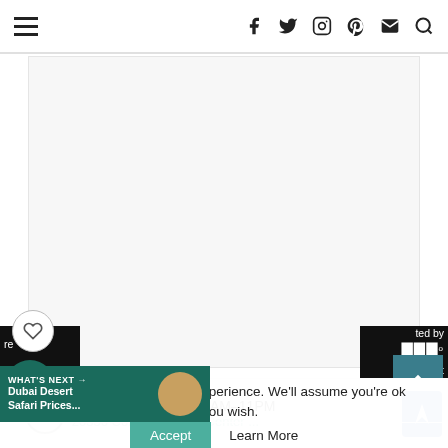Navigation bar with hamburger menu and social icons (Facebook, Twitter, Instagram, Pinterest, Email, Search)
[Figure (photo): Large main content image area (white/light gray placeholder)]
[Figure (other): Heart/like button (circle outline with heart icon)]
[Figure (other): Share button (dark teal circle with share icon)]
[Figure (other): Back to top button (teal square with up arrow)]
uses cookies to improve your experience. We'll assume you're ok with this, but you can opt-out if you wish.
Accept   Learn More
WHAT'S NEXT → Dubai Desert Safari Prices...
Ashburn  OPEN  10AM–11PM  20356 Commonwealth Center ...